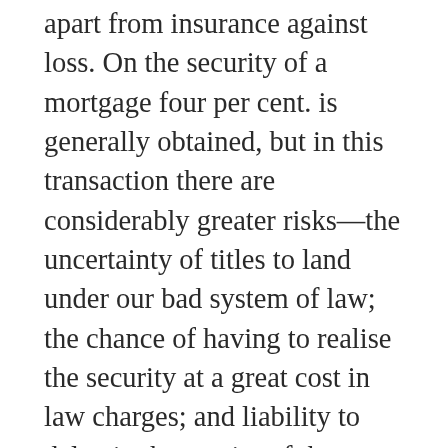apart from insurance against loss. On the security of a mortgage four per cent. is generally obtained, but in this transaction there are considerably greater risks—the uncertainty of titles to land under our bad system of law; the chance of having to realise the security at a great cost in law charges; and liability to delay in the receipt of the interest, even when the principal is safe. When mere money independently of exertion yields a larger income, as it sometimes does, for example, by shares in railway or other companies, the surplus is hardly ever an equivalent for the risk of losing the whole, or part, of the capital by mismanagement, as in the case of the Brighton Railway, the dividend